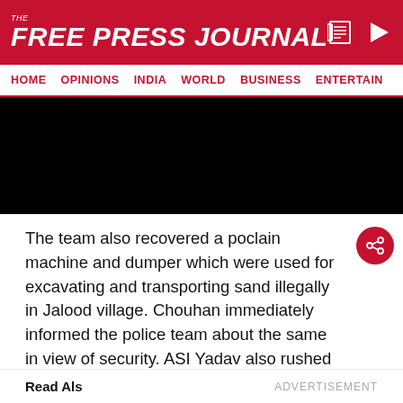THE FREE PRESS JOURNAL
HOME   OPINIONS   INDIA   WORLD   BUSINESS   ENTERTAIN
[Figure (photo): Black/redacted image block]
The team also recovered a poclain machine and dumper which were used for excavating and transporting sand illegally in Jalood village. Chouhan immediately informed the police team about the same in view of security. ASI Yadav also rushed to the spot along with PCR van and seized both the machines and dumper and impounded them at the concerned police station.
Read Also